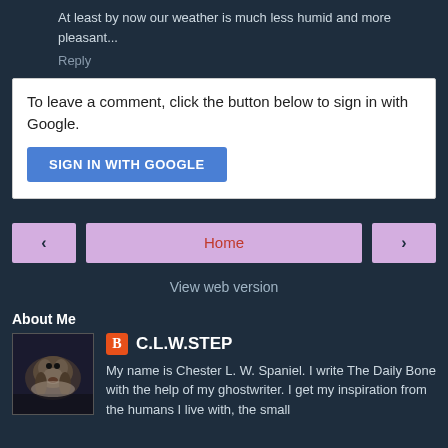At least by now our weather is much less humid and more pleasant...
Reply
To leave a comment, click the button below to sign in with Google.
SIGN IN WITH GOOGLE
‹
Home
›
View web version
About Me
[Figure (photo): Profile photo of a dog, likely a spaniel, in a dark setting]
C.L.W.STEP
My name is Chester L. W. Spaniel. I write The Daily Bone with the help of my ghostwriter. I get my inspiration from the humans I live with, the small